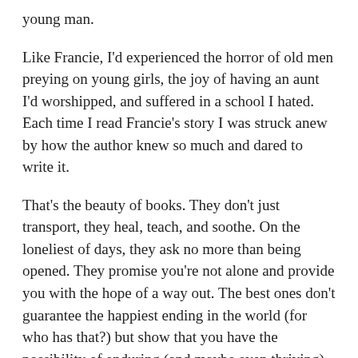young man.
Like Francie, I'd experienced the horror of old men preying on young girls, the joy of having an aunt I'd worshipped, and suffered in a school I hated. Each time I read Francie's story I was struck anew by how the author knew so much and dared to write it.
That's the beauty of books. They don't just transport, they heal, teach, and soothe. On the loneliest of days, they ask no more than being opened. They promise you're not alone and provide you with the hope of a way out. The best ones don't guarantee the happiest ending in the world (for who has that?) but show that you have the possibility of enduring (and maybe even thriving) and becoming strong at the broken places.
Perhaps all insatiable readers become imprinted by a